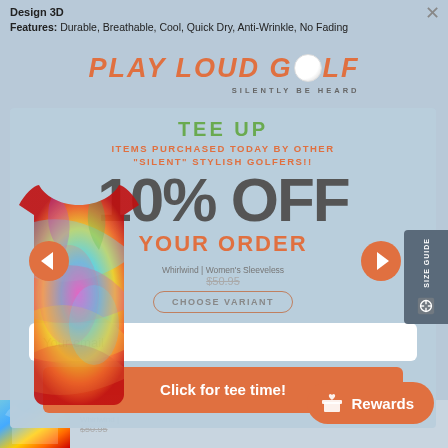Design 3D
Features: Durable, Breathable, Cool, Quick Dry, Anti-Wrinkle, No Fading
[Figure (logo): Play Loud Golf logo with golf ball replacing the 'o' in Golf, tagline: Silently Be Heard]
TEE UP
ITEMS PURCHASED TODAY BY OTHER "SILENT" STYLISH GOLFERS!!
10% OFF
YOUR ORDER
Whirlwind | Women's Sleeveless
$50.95
CHOOSE VARIANT
Your email
Click for tee time!
Rewards
Whirlwind |
[Figure (photo): Colorful swirling pattern women's sleeveless golf top, displayed on a mannequin]